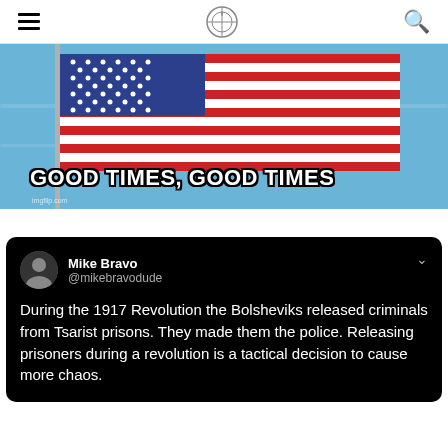Navigation header with hamburger menu, logo, and search icon
[Figure (photo): American flag waving against a blue sky with bold white meme text reading 'GOOD TIMES, GOOD TIMES' overlaid at the bottom]
[Figure (screenshot): Dark-themed tweet from Mike Bravo (@mikebravodude) reading: 'During the 1917 Revolution the Bolsheviks released criminals from Tsarist prisons. They made them the police. Releasing prisoners during a revolution is a tactical decision to cause more chaos.']